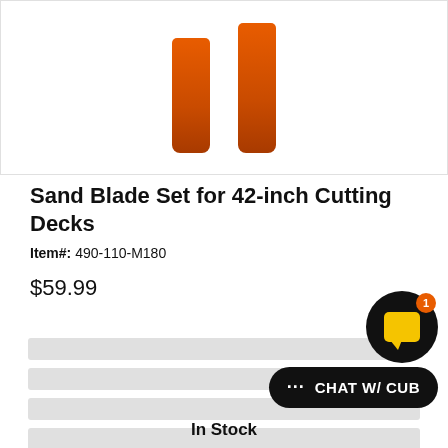[Figure (photo): Two orange sand blades shown vertically against a white background]
Sand Blade Set for 42-inch Cutting Decks
Item#: 490-110-M180
$59.99
In Stock